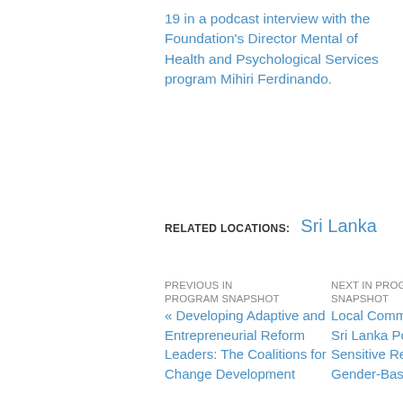19 in a podcast interview with the Foundation's Director Mental of Health and Psychological Services program Mihiri Ferdinando.
RELATED LOCATIONS: Sri Lanka
PREVIOUS IN PROGRAM SNAPSHOT
« Developing Adaptive and Entrepreneurial Reform Leaders: The Coalitions for Change Development
NEXT IN PROGRAM SNAPSHOT
Local Communities and the Sri Lanka Police Support Sensitive Responses to Gender-Based